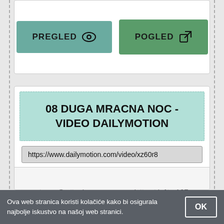[Figure (screenshot): Two buttons: PREGLED (teal) with eye icon and POGLED (green) with external link icon]
08 DUGA MRACNA NOC - VIDEO DAILYMOTION
https://www.dailymotion.com/video/xz60r8
Serija duga mracna noc. ... 8 years ago|16.2K views. Serija duga mracna ... Istine i laži - 167 Epizoda (11.06.2018) Prva Tv Hrvatska domaca serija Najnovija.
Ova web stranica koristi kolačiće kako bi osigurala najbolje iskustvo na našoj web stranici.